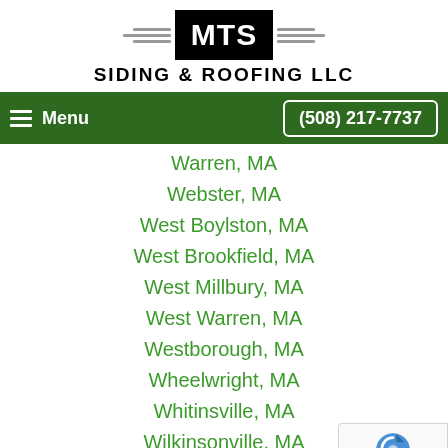[Figure (logo): MTS Siding & Roofing LLC logo with wing graphics and company name]
Menu  (508) 217-7737
Warren, MA
Webster, MA
West Boylston, MA
West Brookfield, MA
West Millbury, MA
West Warren, MA
Westborough, MA
Wheelwright, MA
Whitinsville, MA
Wilkinsonville, MA
Wilkinsonville, MA